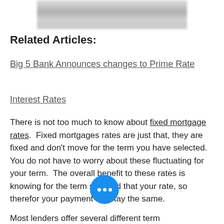[Figure (photo): Blurred/grayscale photo at top of page, partially cropped]
Related Articles:
Big 5 Bank Announces changes to Prime Rate
Interest Rates
There is not too much to know about fixed mortgage rates.  Fixed mortgages rates are just that, they are fixed and don’t move for the term you have selected.  You do not have to worry about these fluctuating for your term.  The overall benefit to these rates is knowing for the term selected that your rate, so therefor your payment will stay the same.
Most lenders offer several different term